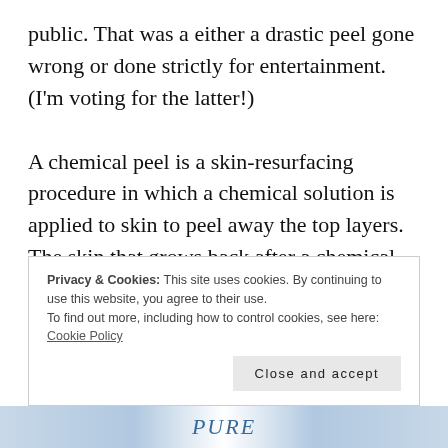public. That was a either a drastic peel gone wrong or done strictly for entertainment. (I'm voting for the latter!)

A chemical peel is a skin-resurfacing procedure in which a chemical solution is applied to skin to peel away the top layers. The skin that grows back after a chemical peel is smoother and younger looking. They can help with fine lines and wrinkles,
Privacy & Cookies: This site uses cookies. By continuing to use this website, you agree to their use.
To find out more, including how to control cookies, see here: Cookie Policy
[Close and accept]
[Figure (photo): Bottom strip showing partial image with 'PURE' text in blue italic style]